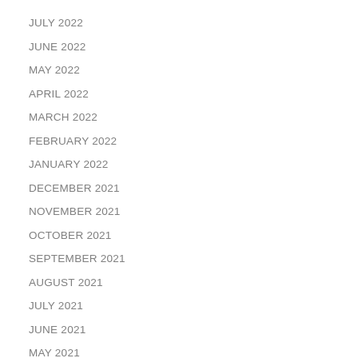JULY 2022
JUNE 2022
MAY 2022
APRIL 2022
MARCH 2022
FEBRUARY 2022
JANUARY 2022
DECEMBER 2021
NOVEMBER 2021
OCTOBER 2021
SEPTEMBER 2021
AUGUST 2021
JULY 2021
JUNE 2021
MAY 2021
APRIL 2021